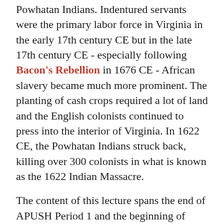Powhatan Indians. Indentured servants were the primary labor force in Virginia in the early 17th century CE but in the late 17th century CE - especially following Bacon's Rebellion in 1676 CE - African slavery became much more prominent. The planting of cash crops required a lot of land and the English colonists continued to press into the interior of Virginia. In 1622 CE, the Powhatan Indians struck back, killing over 300 colonists in what is known as the 1622 Indian Massacre.
The content of this lecture spans the end of APUSH Period 1 and the beginning of APUSH Period 2. In most APUSH textbooks, this content will be found in either Chapter 1 or Chapter 2.
To view the second part of this lecture: